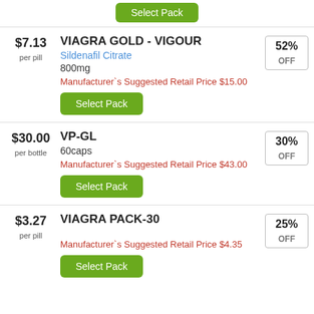[Figure (screenshot): Partial top row showing a green 'Select Pack' button]
$7.13 per pill
VIAGRA GOLD - VIGOUR
Sildenafil Citrate
800mg
Manufacturer`s Suggested Retail Price $15.00
52% OFF
Select Pack
$30.00 per bottle
VP-GL
60caps
Manufacturer`s Suggested Retail Price $43.00
30% OFF
Select Pack
$3.27 per pill
VIAGRA PACK-30
Manufacturer`s Suggested Retail Price $4.35
25% OFF
Select Pack